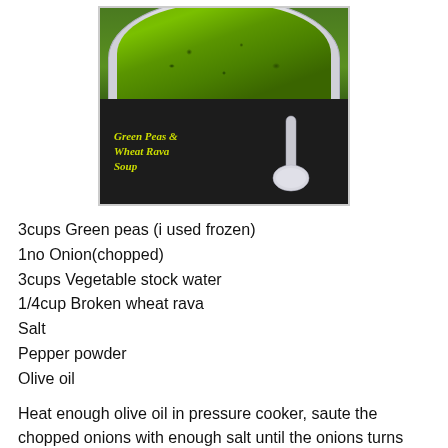[Figure (photo): A bowl of green peas and wheat rava soup on a dark background with a silver spoon, with text overlay reading 'Green Peas & Wheat Rava Soup' in yellow-green italic font]
3cups Green peas (i used frozen)
1no Onion(chopped)
3cups Vegetable stock water
1/4cup Broken wheat rava
Salt
Pepper powder
Olive oil
Heat enough olive oil in pressure cooker, saute the chopped onions with enough salt until the onions turns transculent.